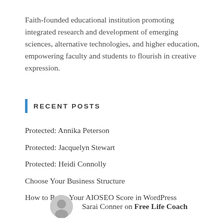Faith-founded educational institution promoting integrated research and development of emerging sciences, alternative technologies, and higher education, empowering faculty and students to flourish in creative expression.
RECENT POSTS
Protected: Annika Peterson
Protected: Jacquelyn Stewart
Protected: Heidi Connolly
Choose Your Business Structure
How to Raise Your AIOSEO Score in WordPress
Sarai Conner on Free Life Coach